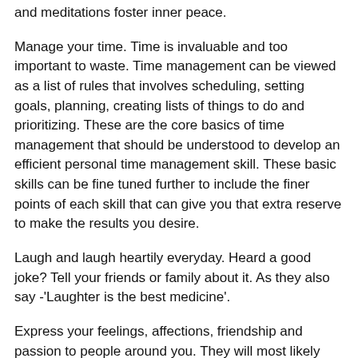and meditations foster inner peace.
Manage your time. Time is invaluable and too important to waste. Time management can be viewed as a list of rules that involves scheduling, setting goals, planning, creating lists of things to do and prioritizing. These are the core basics of time management that should be understood to develop an efficient personal time management skill. These basic skills can be fine tuned further to include the finer points of each skill that can give you that extra reserve to make the results you desire.
Laugh and laugh heartily everyday. Heard a good joke? Tell your friends or family about it. As they also say -'Laughter is the best medicine'.
Express your feelings, affections, friendship and passion to people around you. They will most likely reciprocate your actions. Try not to keep pent up anger of frustrations, this is bad for your health. Instead find ways of expressing them in a way that will not cause more injury or hurt to anyone.